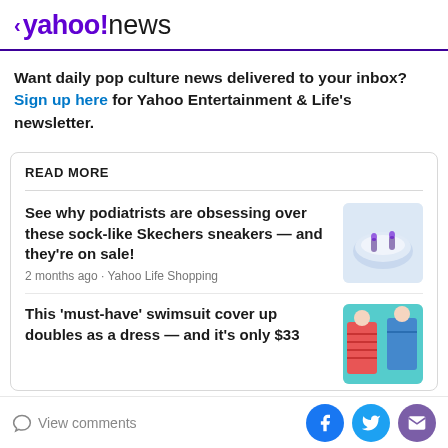< yahoo!news
Want daily pop culture news delivered to your inbox? Sign up here for Yahoo Entertainment & Life's newsletter.
READ MORE
See why podiatrists are obsessing over these sock-like Skechers sneakers — and they're on sale!
2 months ago · Yahoo Life Shopping
This 'must-have' swimsuit cover up doubles as a dress — and it's only $33
View comments